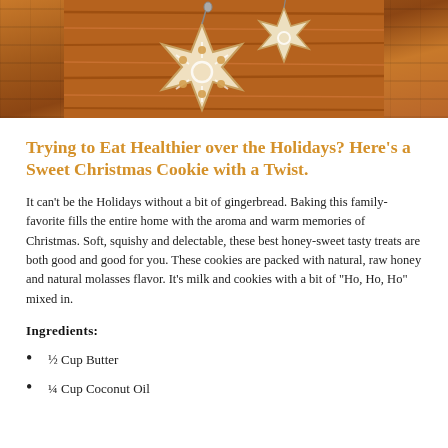[Figure (photo): Photo of gingerbread star-shaped cookies decorated with icing on a wooden background]
Trying to Eat Healthier over the Holidays? Here’s a Sweet Christmas Cookie with a Twist.
It can’t be the Holidays without a bit of gingerbread. Baking this family-favorite fills the entire home with the aroma and warm memories of Christmas. Soft, squishy and delectable, these best honey-sweet tasty treats are both good and good for you. These cookies are packed with natural, raw honey and natural molasses flavor. It’s milk and cookies with a bit of “Ho, Ho, Ho” mixed in.
Ingredients:
½ Cup Butter
¼ Cup Coconut Oil